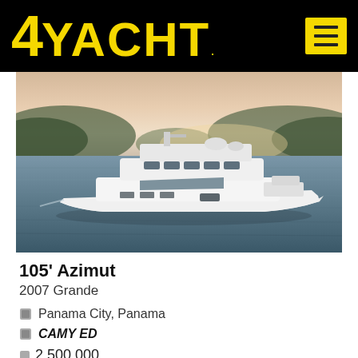4YACHT
[Figure (photo): Aerial/side view of a large white luxury motor yacht cruising on calm water with green hills in the background under a sunset sky]
105' Azimut
2007 Grande
Panama City, Panama
CAMY ED
2,500,000